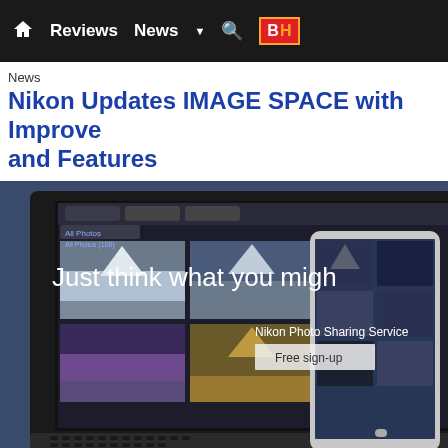Home | Reviews | News | Search | B&H
News
Nikon Updates IMAGE SPACE with Improved and Features
[Figure (screenshot): Screenshot of Nikon IMAGE SPACE photo sharing service shown on a laptop and tablet device. The laptop screen shows a grid of mountain/landscape photos. Overlay text reads 'Just think what you migh', 'Nikon Photo Sharing Service', 'Free sign-up'. Bottom text: 'February 22, 2016  Complete Web Service Renewal']